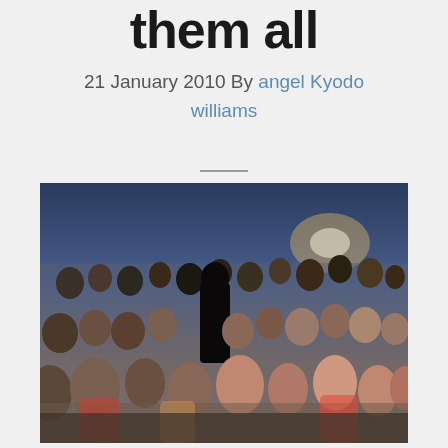them all
21 January 2010 By angel Kyodo williams
[Figure (photo): Large crowd of people gathered outdoors at dusk or evening, many wearing head coverings, sitting and standing in a public area with trees and lights in the background.]